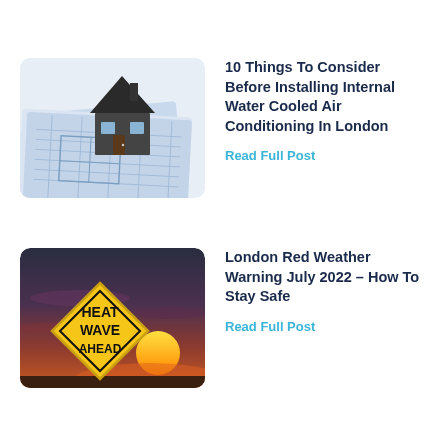[Figure (photo): A 3D model of a house on top of architectural blueprints/plans]
10 Things To Consider Before Installing Internal Water Cooled Air Conditioning In London
Read Full Post
[Figure (photo): A yellow diamond-shaped 'Heat Wave Ahead' warning sign against a dramatic orange sunset sky]
London Red Weather Warning July 2022 – How To Stay Safe
Read Full Post